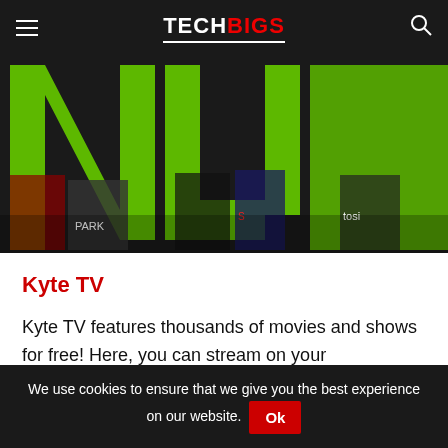TECH BIGS
[Figure (screenshot): Large green stylized letters on a dark background with movie/show cover art tiles visible behind them. Partial text visible includes 'PARK' and 'tosi'.]
Kyte TV
Kyte TV features thousands of movies and shows for free! Here, you can stream on your smartphone and enjoy them when you want!
We use cookies to ensure that we give you the best experience on our website. Ok